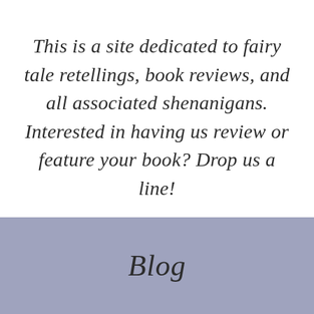This is a site dedicated to fairy tale retellings, book reviews, and all associated shenanigans. Interested in having us review or feature your book? Drop us a line!
[Figure (other): Rounded rectangle button with text GET A REVIEW]
Blog